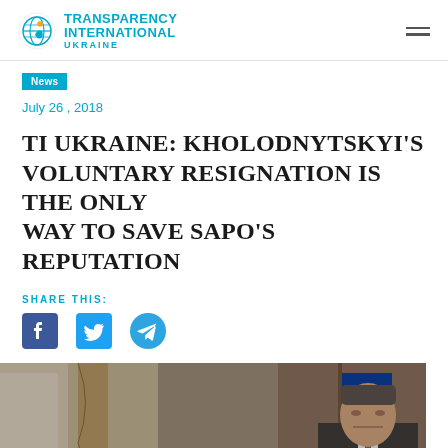TRANSPARENCY INTERNATIONAL UKRAINE
News
July 26 , 2018
TI UKRAINE: KHOLODNYTSKYI'S VOLUNTARY RESIGNATION IS THE ONLY WAY TO SAVE SAPO'S REPUTATION
SHARE THIS:
[Figure (photo): A man in a suit sitting at a desk in an official office, with a Ukrainian flag visible in the background]